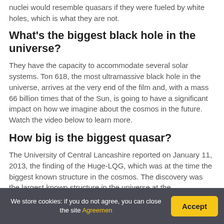nuclei would resemble quasars if they were fueled by white holes, which is what they are not.
What's the biggest black hole in the universe?
They have the capacity to accommodate several solar systems. Ton 618, the most ultramassive black hole in the universe, arrives at the very end of the film and, with a mass 66 billion times that of the Sun, is going to have a significant impact on how we imagine about the cosmos in the future. Watch the video below to learn more.
How big is the biggest quasar?
The University of Central Lancashire reported on January 11, 2013, the finding of the Huge-LQG, which was at the time the biggest known structure in the cosmos. The discovery was the largest known structure in the universe at the...
We store cookies: if you do not agree, you can close the site Agreemen   Accept